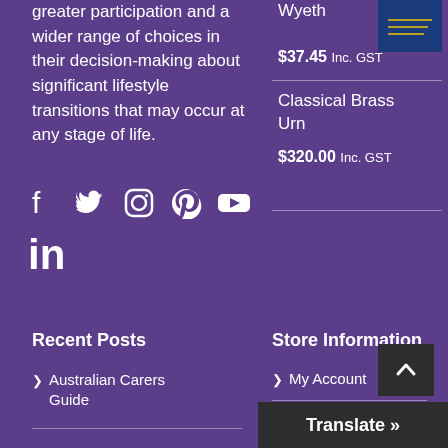greater participation and a wider range of choices in their decision-making about significant lifestyle transitions that may occur at any stage of life.
Wyeth
$37.45 Inc. GST
[Figure (photo): Blue book/product thumbnail image]
Classical Brass Urn
$320.00 Inc. GST
[Figure (infographic): Social media icons: Facebook, Twitter, Instagram, Pinterest, YouTube, LinkedIn]
Recent Posts
Store Information
Australian Carers Guide
My Account
My Orde